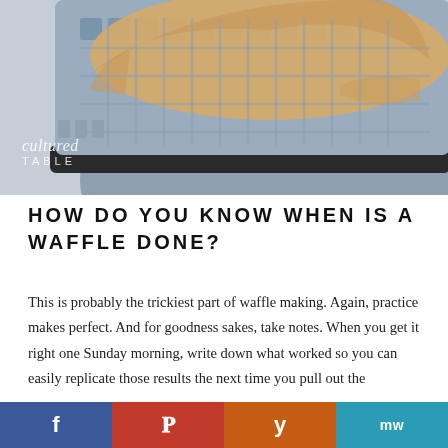[Figure (photo): Close-up photo of waffle batter being poured into a blue/grey waffle iron. The 'cultured TABLE' watermark is visible in the lower left corner of the photo.]
HOW DO YOU KNOW WHEN IS A WAFFLE DONE?
This is probably the trickiest part of waffle making. Again, practice makes perfect. And for goodness sakes, take notes. When you get it right one Sunday morning, write down what worked so you can easily replicate those results the next time you pull out the